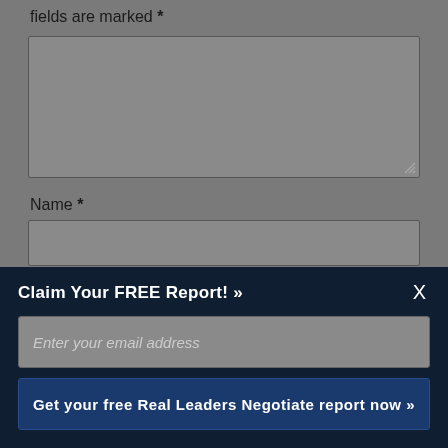fields are marked *
[Figure (screenshot): Textarea input box (grayed out)]
Name *
[Figure (screenshot): Name text input field (grayed out)]
Email *
[Figure (screenshot): Email text input field (grayed out)]
Website
Claim Your FREE Report! »
Enter your email address
Get your free Real Leaders Negotiate report now »